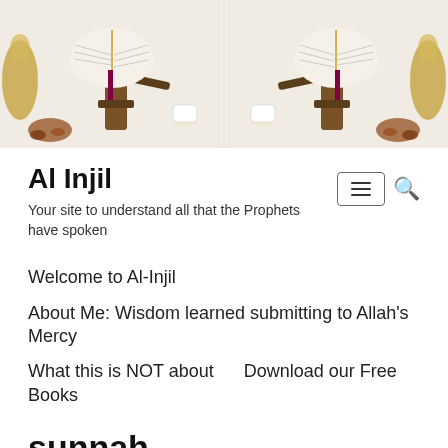[Figure (photo): Banner image showing an open Quran/book on a wooden stand with decorative items, mirrored/duplicated side by side on a light beige background]
Al Injil
Your site to understand all that the Prophets have spoken
Welcome to Al-Injil
About Me: Wisdom learned submitting to Allah's Mercy
What this is NOT about    Download our Free Books
sunnah
The Injil Corrupted! What do the Hadiths